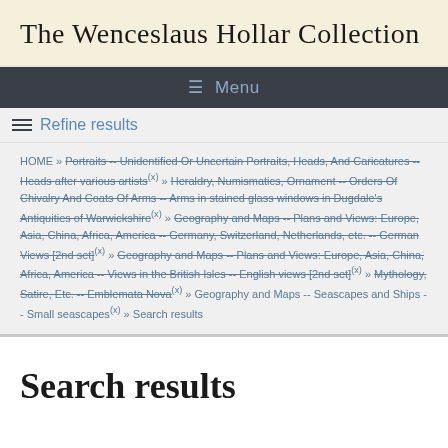The Wenceslaus Hollar Collection
≡ Menu
≡ Refine results
HOME » Portraits -- Unidentified Or Uncertain Portraits, Heads, And Caricatures -- Heads after various artists(x) » Heraldry, Numismatics, Ornament -- Orders Of Chivalry And Coats Of Arms -- Arms in stained glass windows in Dugdale's Antiquities of Warwickshire(x) » Geography and Maps -- Plans and Views: Europe, Asia, China, Africa, America -- Germany, Switzerland, Netherlands, etc. -- German Views [2nd set](x) » Geography and Maps -- Plans and Views: Europe, Asia, China, Africa, America -- Views in the British Isles -- English views [2nd set](x) » Mythology, Satire, Etc. -- Emblemata Nova(x) » Geography and Maps -- Seascapes and Ships -- Small seascapes(x) » Search results
Search results